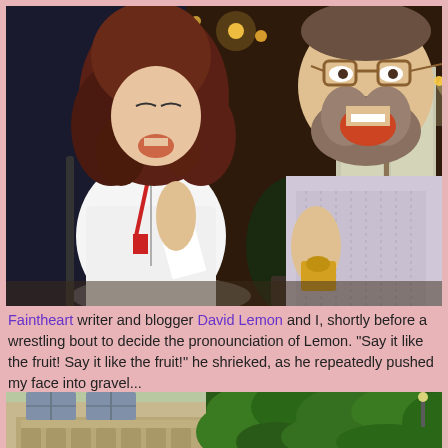[Figure (photo): Two people laughing outdoors at night in front of a brick building. A woman with curly reddish-brown hair wearing a white jacket and red lanyard holds a piece of paper. A bearded man with glasses wearing a patterned shirt holds a small yellow item.]
Faintheart writer and blogger David Lemon and I, shortly before a wrestling bout to decide the pronounciation of Lemon. "Say it like the fruit! Say it like the fruit!" he shrieked, as he repeatedly pushed my face into gravel...
[Figure (photo): Exterior of a stone building with gothic-style architecture, covered in ivy, with a balcony and large windows. Daytime photo.]